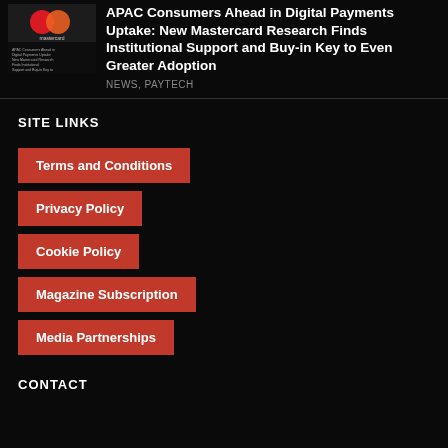[Figure (photo): Thumbnail image showing a Mastercard card and report cover with text about APAC Consumers Ahead in Digital Payments]
APAC Consumers Ahead in Digital Payments Uptake: New Mastercard Research Finds Institutional Support and Buy-in Key to Even Greater Adoption
NEWS, PAYTECH
SITE LINKS
Terms and Conditions
Privacy Policy
Cookie Policy
Magazine Subscription
Media Partnerships
CONTACT